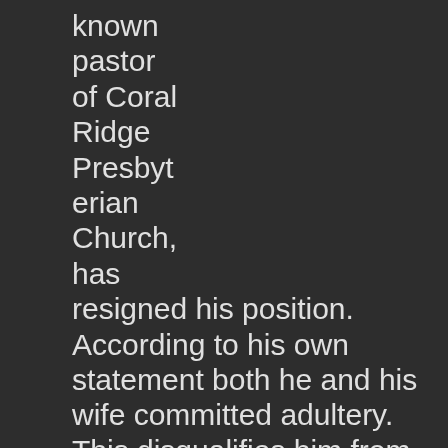known pastor of Coral Ridge Presbyterian Church, has resigned his position.  According to his own statement both he and his wife committed adultery.  This disqualifies him from the pastoral office.  He has willingly acknowledged his affair and peacefully stepped aside.

It is a sad day when a pastor must resign his call for any reason, but especially for living an immoral life.  Tchividjian's case gives a great deal of pause for